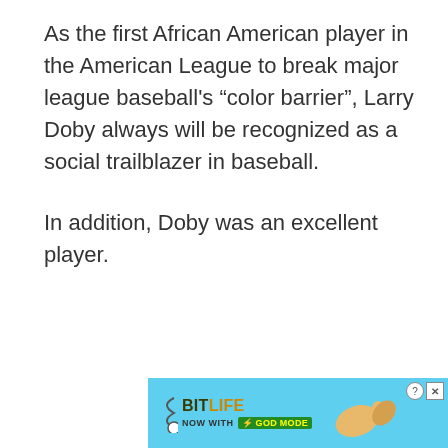As the first African American player in the American League to break major league baseball's “color barrier”, Larry Doby always will be recognized as a social trailblazer in baseball.

In addition, Doby was an excellent player.
[Figure (other): BitLife advertisement banner reading 'BitLife NOW WITH GOD MODE' with game logo and hand graphic on light blue background]